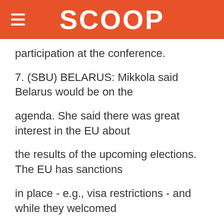SCOOP
participation at the conference.
7. (SBU) BELARUS: Mikkola said Belarus would be on the
agenda. She said there was great interest in the EU about
the results of the upcoming elections. The EU has sanctions
in place - e.g., visa restrictions - and while they welcomed
the release of some political prisoners in August they do not
anticipate action to ease or remove sanctions before the
elections